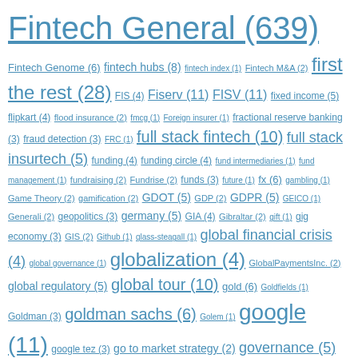Fintech General (639) Fintech Genome (6) fintech hubs (8) fintech index (1) Fintech M&A (2) first the rest (28) FIS (4) Fiserv (11) FISV (11) fixed income (5) flipkart (4) flood insurance (2) fmcg (1) Foreign insurer (1) fractional reserve banking (3) fraud detection (3) FRC (1) full stack fintech (10) full stack insurtech (5) funding (4) funding circle (4) fund intermediaries (1) fund management (1) fundraising (2) Fundrise (2) funds (3) future (1) fx (6) gambling (1) Game Theory (2) gamification (2) GDOT (5) GDP (2) GDPR (5) GEICO (1) Generali (2) geopolitics (3) germany (5) GIA (4) Gibraltar (2) gift (1) gig economy (3) GIS (2) Github (1) glass-steagall (1) global financial crisis (4) global governance (1) globalization (4) GlobalPaymentsInc. (2) global regulatory (5) global tour (10) gold (6) Goldfields (1) Goldman (3) goldman sachs (6) Golem (1) google (11) google tez (3) go to market strategy (2) governance (5) government rescue loans (1) govtech (1) GPN (2) Grab (2) greece (5) green dot (1) GreenDot (5)